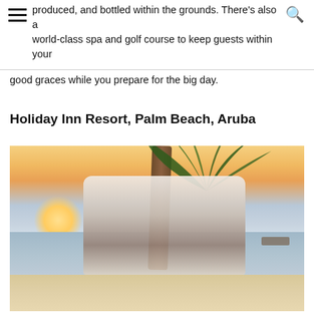produced, and bottled within the grounds. There's also a world-class spa and golf course to keep guests within your
good graces while you prepare for the big day.
Holiday Inn Resort, Palm Beach, Aruba
[Figure (photo): Two men standing on a beach at sunset, posed next to a palm tree. One man is reaching up to hold the palm trunk, the other stands beside him. The background shows a golden-pink sunset sky, calm turquoise water, and white sand beach.]